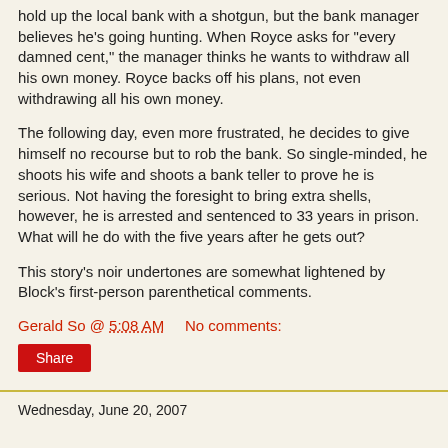hold up the local bank with a shotgun, but the bank manager believes he's going hunting. When Royce asks for "every damned cent," the manager thinks he wants to withdraw all his own money. Royce backs off his plans, not even withdrawing all his own money.
The following day, even more frustrated, he decides to give himself no recourse but to rob the bank. So single-minded, he shoots his wife and shoots a bank teller to prove he is serious. Not having the foresight to bring extra shells, however, he is arrested and sentenced to 33 years in prison. What will he do with the five years after he gets out?
This story's noir undertones are somewhat lightened by Block's first-person parenthetical comments.
Gerald So @ 5:08 AM    No comments:
Share
Wednesday, June 20, 2007